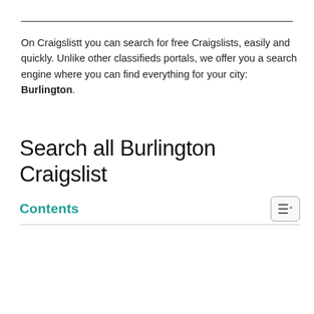On Craigslistt you can search for free Craigslists, easily and quickly. Unlike other classifieds portals, we offer you a search engine where you can find everything for your city: Burlington.
Search all Burlington Craigslist
Contents